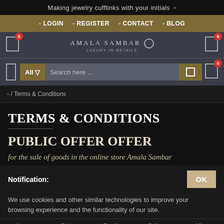Making jewelry cufflinks with your initials
LOGIN  REGISTER  CONTACT  BLOG
[Figure (logo): Amala Sambar luxury jewelry brand logo with circular emblem]
All  Search here ...
/ Terms & Conditions
TERMS & CONDITIONS
PUBLIC OFFER OFFER
for the sale of goods in the online store Amala Sambar
Notification:
We use cookies and other similar technologies to improve your browsing experience and the functionality of our site.
Home  Sale  Email  Call us  Viber